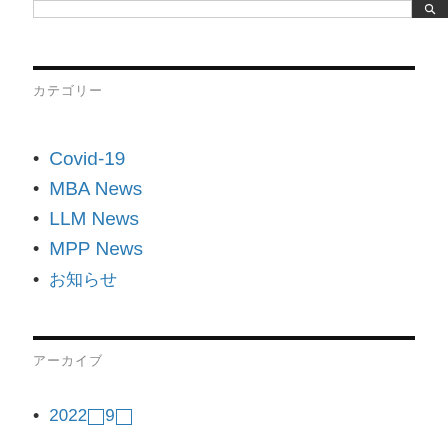カテゴリー
Covid-19
MBA News
LLM News
MPP News
お知らせ
アーカイブ
2022年9月